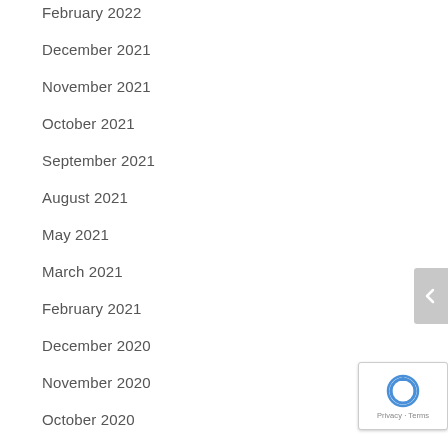February 2022
December 2021
November 2021
October 2021
September 2021
August 2021
May 2021
March 2021
February 2021
December 2020
November 2020
October 2020
August 2020
July 2020
June 2020